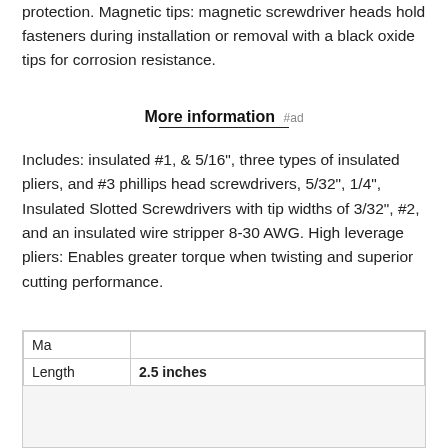protection. Magnetic tips: magnetic screwdriver heads hold fasteners during installation or removal with a black oxide tips for corrosion resistance.
More information #ad
Includes: insulated #1, & 5/16", three types of insulated pliers, and #3 phillips head screwdrivers, 5/32", 1/4", Insulated Slotted Screwdrivers with tip widths of 3/32", #2, and an insulated wire stripper 8-30 AWG. High leverage pliers: Enables greater torque when twisting and superior cutting performance.
| Ma |  |
| Length | 2.5 inches |
As an Amazon Associate I earn from qualifying purchases. This website uses the only necessary cookies to ensure you get the best experience on our website. More information